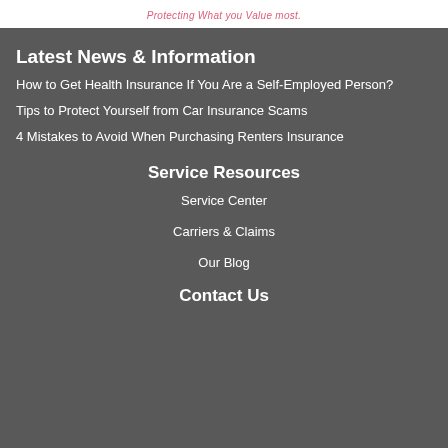Protecting What you Value most.
Latest News & Information
How to Get Health Insurance If You Are a Self-Employed Person?
Tips to Protect Yourself from Car Insurance Scams
4 Mistakes to Avoid When Purchasing Renters Insurance
Service Resources
Service Center
Carriers & Claims
Our Blog
Contact Us